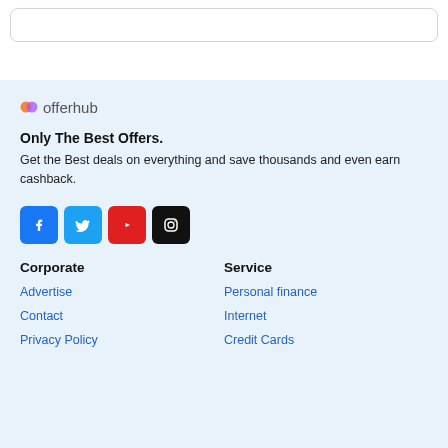[Figure (screenshot): Top white bar with a rounded search input box]
[Figure (logo): Offerhub logo: small coloured icon and the text 'offerhub' in grey]
Only The Best Offers.
Get the Best deals on everything and save thousands and even earn cashback.
[Figure (infographic): Social media icon buttons: Facebook (blue), Twitter (blue), YouTube (red), Instagram (black)]
Corporate
Service
Advertise
Personal finance
Contact
Internet
Privacy Policy
Credit Cards